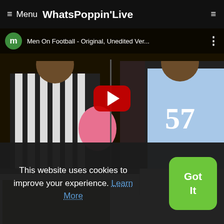≡ Menu WhatsPoppin'Live
[Figure (screenshot): YouTube video thumbnail showing 'Men On Football - Original, Unedited Ver...' with two people in sports attire and a red play button in the center]
[Figure (photo): Partial thumbnail of a person with green face/mask]
This website uses cookies to improve your experience. Learn More
Got It